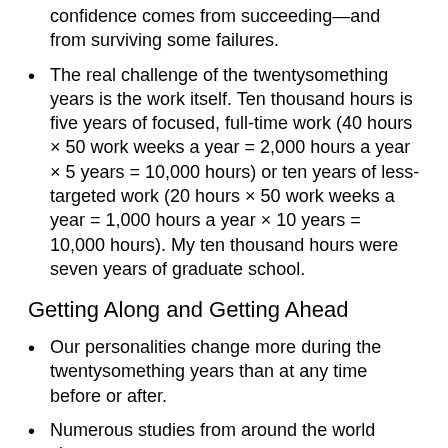confidence comes from succeeding—and from surviving some failures.
The real challenge of the twentysomething years is the work itself. Ten thousand hours is five years of focused, full-time work (40 hours × 50 work weeks a year = 2,000 hours a year × 5 years = 10,000 hours) or ten years of less-targeted work (20 hours × 50 work weeks a year = 1,000 hours a year × 10 years = 10,000 hours). My ten thousand hours were seven years of graduate school.
Getting Along and Getting Ahead
Our personalities change more during the twentysomething years than at any time before or after.
Numerous studies from around the world show